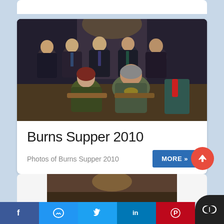[Figure (photo): Group photo of people at Burns Supper 2010 event, showing seven men in kilts standing in the back row and a man and woman seated in front, in what appears to be a pub or hotel interior.]
Burns Supper 2010
Photos of Burns Supper 2010
[Figure (photo): Partial view of another photo card below, showing interior of a venue.]
f  [Messenger]  [Twitter]  in  [Pinterest]